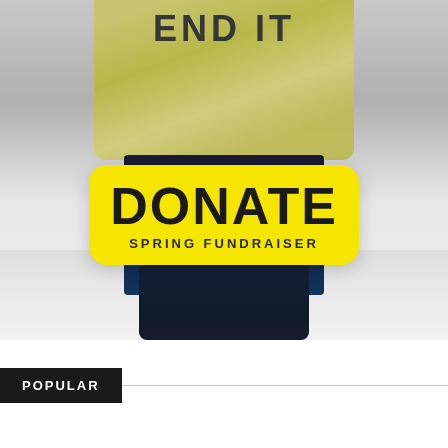[Figure (photo): Person wearing a yellow jacket and dark pants holding a sign, standing in a snowy or light-gray environment. A bright yellow rounded rectangle badge overlaid on the image reads 'DONATE' in large bold letters with 'SPRING FUNDRAISER' in smaller text below.]
POPULAR